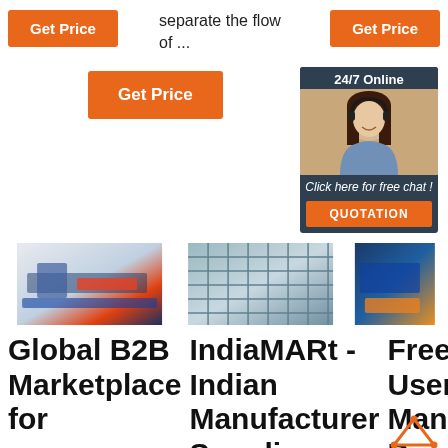[Figure (screenshot): Orange 'Get Price' button on left]
separate the flow of ...
[Figure (screenshot): Orange 'Get Price' button on right]
[Figure (screenshot): Orange 'Get Price' button center]
[Figure (infographic): 24/7 Online chat widget with woman wearing headset, 'Click here for free chat!' text, and QUOTATION button]
[Figure (photo): Industrial roll forming machine in factory]
[Figure (photo): Galvanized steel grid/mesh product close-up]
[Figure (photo): Blue industrial machinery]
Global B2B Marketplace for
IndiaMart - Indian Manufacturer Suppliers
Free User Manuals By
[Figure (logo): TOP logo with orange triangle/arrow icon]